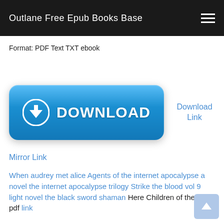Outlane Free Epub Books Base
Format: PDF Text TXT ebook
[Figure (other): Blue download button with downward arrow icon and text DOWNLOAD]
Download Link
Mirror Link
When audrey met alice Agents of the internet apocalypse a novel the internet apocalypse trilogy Strike the blood vol 9 light novel the black sword shaman Here Children of the dark pdf link